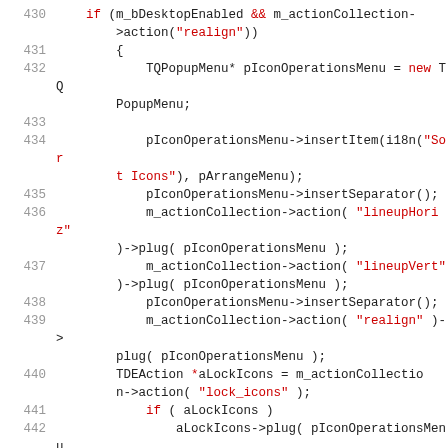[Figure (screenshot): Source code listing showing lines 430-443 of C++ code involving desktop popup menu actions with TQPopupMenu and TDEAction objects.]